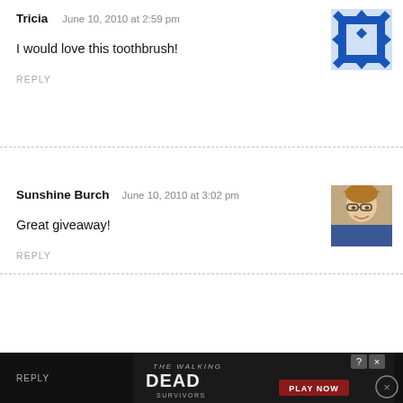Tricia   June 10, 2010 at 2:59 pm
I would love this toothbrush!
REPLY
Sunshine Burch   June 10, 2010 at 3:02 pm
Great giveaway!
REPLY
Bianca T.   June 10, 2010 at 3:03 pm
My husband has great teeth, he would love this!
REPLY
Brandi Speakman   June 10, 2010 at 3:10 pm
My husband would love this. I follow on facebook and subscribe to emails.
REPLY
[Figure (screenshot): The Walking Dead Survivors advertisement banner with PLAY NOW button]